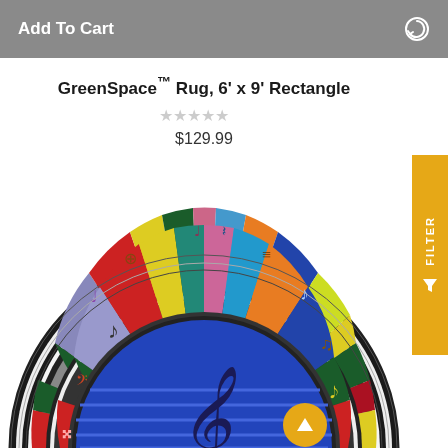Add To Cart
GreenSpace™ Rug, 6' x 9' Rectangle
★★★★★ (empty stars rating)
$129.99
[Figure (photo): Half-circle music-themed GreenSpace rug with colorful segments showing musical notes and symbols around the border, dark blue center with treble clef, piano key border pattern]
FILTER